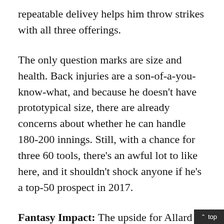repeatable delivey helps him throw strikes with all three offerings.
The only question marks are size and health. Back injuries are a son-of-a-you-know-what, and because he doesn't have prototypical size, there are already concerns about whether he can handle 180-200 innings. Still, with a chance for three 60 tools, there's an awful lot to like here, and it shouldn't shock anyone if he's a top-50 prospect in 2017.
Fantasy Impact: The upside for Allard is high enough that it's almost tempting to take him over Blair right now (that said, it may not be long before that's the "right" move). He should be the first prep pitcher off the board in dynasty league drafts this off-seas...